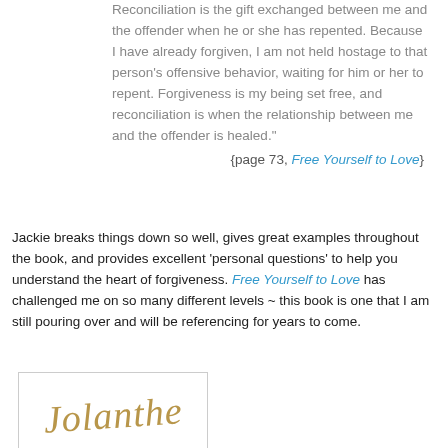Reconciliation is the gift exchanged between me and the offender when he or she has repented. Because I have already forgiven, I am not held hostage to that person's offensive behavior, waiting for him or her to repent. Forgiveness is my being set free, and reconciliation is when the relationship between me and the offender is healed."
{page 73, Free Yourself to Love}
Jackie breaks things down so well, gives great examples throughout the book, and provides excellent 'personal questions' to help you understand the heart of forgiveness. Free Yourself to Love has challenged me on so many different levels ~ this book is one that I am still pouring over and will be referencing for years to come.
[Figure (illustration): Handwritten signature reading 'Jolanthe' in golden/tan cursive script inside a light bordered box]